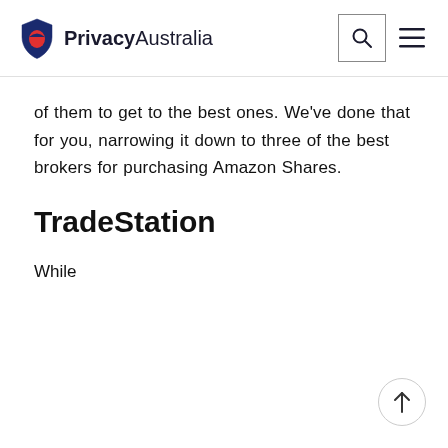PrivacyAustralia
of them to get to the best ones. We've done that for you, narrowing it down to three of the best brokers for purchasing Amazon Shares.
TradeStation
While